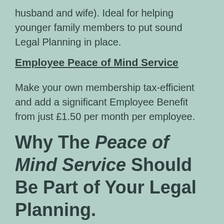husband and wife). Ideal for helping younger family members to put sound Legal Planning in place.
Employee Peace of Mind Service
Make your own membership tax-efficient and add a significant Employee Benefit from just £1.50 per month per employee.
Why The Peace of Mind Service Should Be Part of Your Legal Planning.